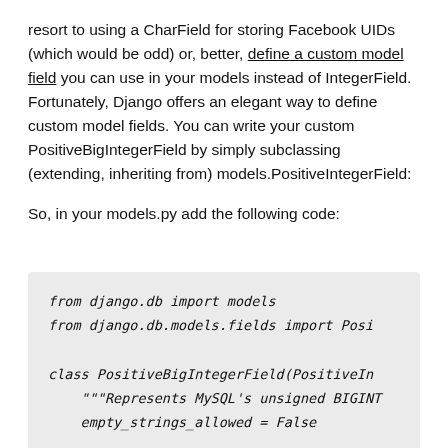resort to using a CharField for storing Facebook UIDs (which would be odd) or, better, define a custom model field you can use in your models instead of IntegerField. Fortunately, Django offers an elegant way to define custom model fields. You can write your custom PositiveBigIntegerField by simply subclassing (extending, inheriting from) models.PositiveIntegerField:
So, in your models.py add the following code:
[Figure (screenshot): Code block showing Python code: from django.db import models, from django.db.models.fields import Posit[iveIntegerField], class PositiveBigIntegerField(PositiveIn[tegerField]:, """Represents MySQL's unsigned BIGINT, empty_strings_allowed = False]